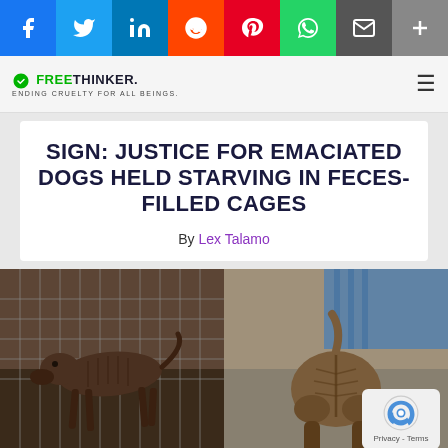[Figure (screenshot): Social media share bar with Facebook, Twitter, LinkedIn, Reddit, Pinterest, WhatsApp, Email, and More buttons]
FREETHINKER. ENDING CRUELTY FOR ALL BEINGS.
SIGN: JUSTICE FOR EMACIATED DOGS HELD STARVING IN FECES-FILLED CAGES
By Lex Talamo
[Figure (photo): Two photos side by side: left shows an emaciated dog in a wire cage, right shows a thin dog from behind on a concrete floor with blue material visible]